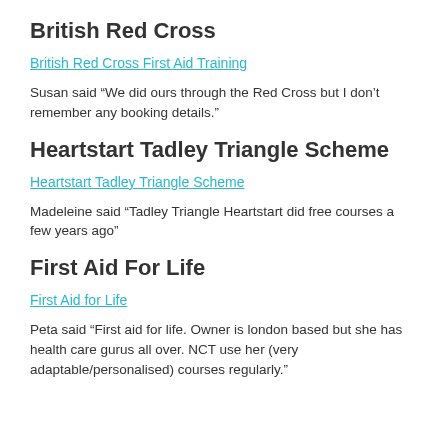British Red Cross
British Red Cross First Aid Training
Susan said “We did ours through the Red Cross but I don’t remember any booking details.”
Heartstart Tadley Triangle Scheme
Heartstart Tadley Triangle Scheme
Madeleine said “Tadley Triangle Heartstart did free courses a few years ago”
First Aid For Life
First Aid for Life
Peta said “First aid for life. Owner is london based but she has health care gurus all over. NCT use her (very adaptable/personalised) courses regularly.”